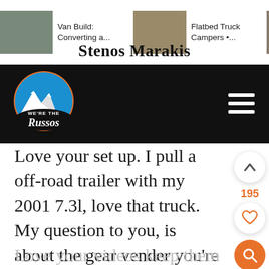[Figure (screenshot): Website navigation bar with thumbnail images and article titles: 'Van Build: Converting a...', 'Flatbed Truck Campers •...', 'Boo[st] Review •...' with orange arrow]
[Figure (logo): We're The Russos website logo: orange circle with mountain peaks, white banner with 'Russos' text, on black header bar with hamburger menu icon]
Stenos Marakis
Love your set up. I pull a off-road trailer with my 2001 7.3l, love that truck. My question to you, is about the gear vender you're running in Leo. What are the pros and cons please share. I'm considering purchasing one for my truck. Love your videos keep them coming.